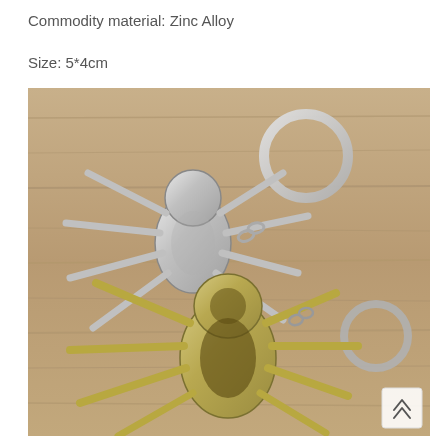Commodity material: Zinc Alloy
Size: 5*4cm
[Figure (photo): Product photo showing two spider-shaped keychains on a wooden surface. One keychain is silver/chrome colored and the other is gold/bronze colored, both shaped like a spider (Spider-Man logo style). Each has a metal key ring attached via a short chain link.]